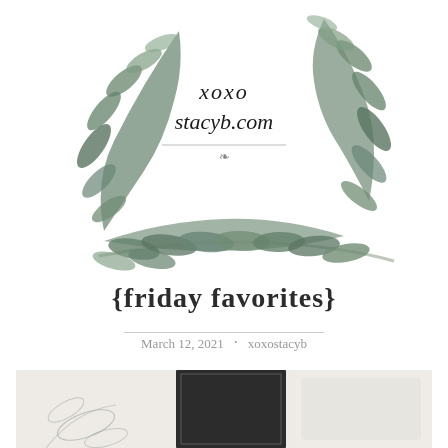[Figure (illustration): Circular botanical wreath made of watercolor green leaves and branches, with cursive script text 'xoxo stacyb.com' and a decorative flourish line in the center]
{friday favorites}
March 12, 2021 · xoxostacyb
[Figure (photo): Bottom portion of a lifestyle blog image showing decorative items including what appears to be a dark frame or panel and floral elements on a light background]